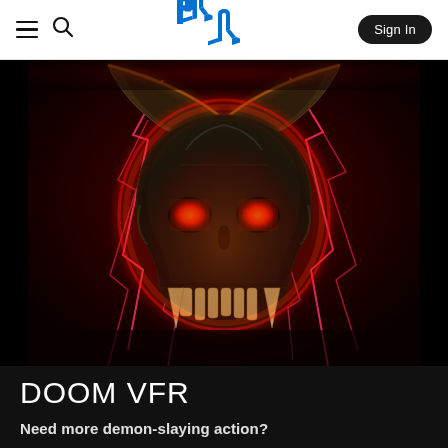PlayStation navigation bar with hamburger menu, search icon, PlayStation logo, and Sign In button
[Figure (photo): DOOM VFR promotional art — a demonic skull with large curved horns glowing with red and orange fiery light, red lightning bolts surrounding it, glowing red eyes, against a dark red/black background]
DOOM VFR
Need more demon-slaying action?